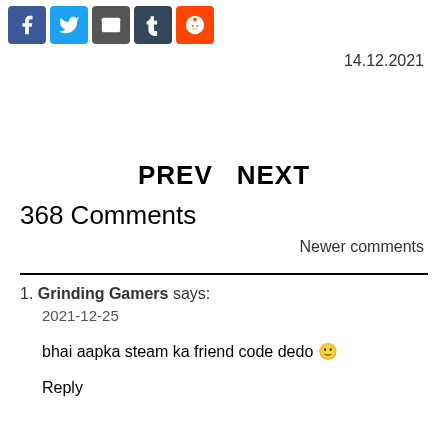[Figure (infographic): Social sharing icons: Facebook (blue), Twitter (blue), Email (grey), Tumblr (dark blue), Reddit (orange)]
14.12.2021
PREV   NEXT
368 Comments
Newer comments
1. Grinding Gamers says:
2021-12-25

bhai aapka steam ka friend code dedo 🙂

Reply